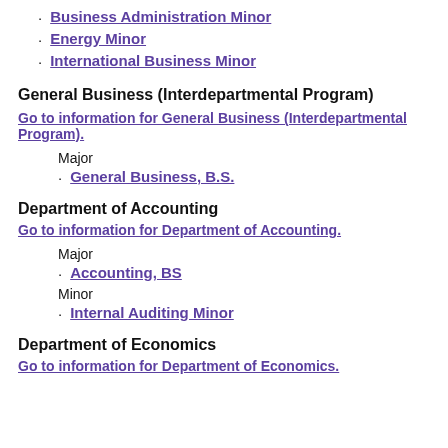Business Administration Minor
Energy Minor
International Business Minor
General Business (Interdepartmental Program)
Go to information for General Business (Interdepartmental Program).
Major
General Business, B.S.
Department of Accounting
Go to information for Department of Accounting.
Major
Accounting, BS
Minor
Internal Auditing Minor
Department of Economics
Go to information for Department of Economics.